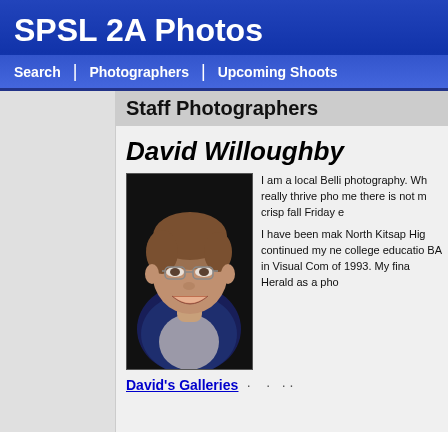SPSL 2A Photos
Search | Photographers | Upcoming Shoots
Staff Photographers
David Willoughby
[Figure (photo): Portrait photo of David Willoughby, a man with glasses smiling, dark background]
I am a local Belli photography. Wh really thrive pho me there is not m crisp fall Friday e
I have been mak North Kitsap Hig continued my ne college educatio BA in Visual Com of 1993. My fina Herald as a pho
David's Galleries · · ··